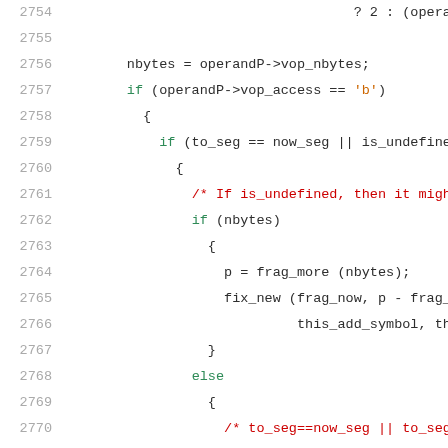[Figure (screenshot): Source code listing showing lines 2754-2775 of a C/assembly file with syntax highlighting. Line numbers in gray on left, code in black/green/red on right. Shows code related to operand processing with if/else blocks, frag_more, fix_new calls, and VIT_OP checks.]